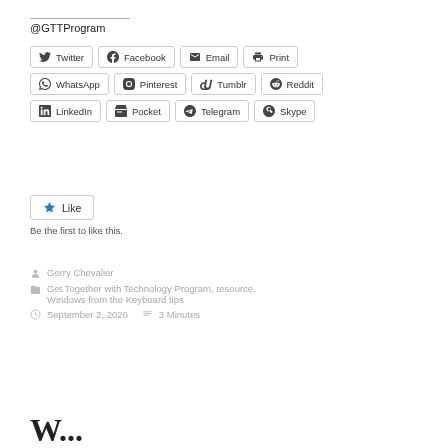@GTTProgram
[Figure (other): Social sharing buttons: Twitter, Facebook, Email, Print, WhatsApp, Pinterest, Tumblr, Reddit, LinkedIn, Pocket, Telegram, Skype]
[Figure (other): Like button with star icon]
Be the first to like this.
Gerry Chevalier
Get Together with Technology Program, resource, Windows from the Keyboard tips
September 2, 2020   3 Minutes
W...